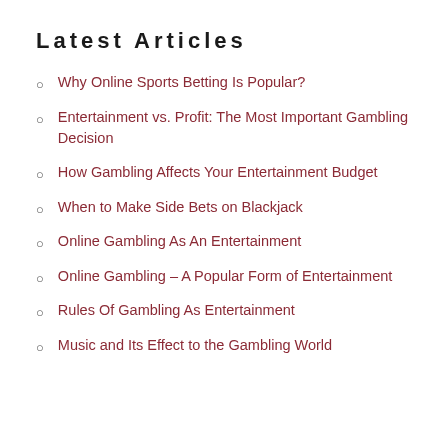Latest Articles
Why Online Sports Betting Is Popular?
Entertainment vs. Profit: The Most Important Gambling Decision
How Gambling Affects Your Entertainment Budget
When to Make Side Bets on Blackjack
Online Gambling As An Entertainment
Online Gambling – A Popular Form of Entertainment
Rules Of Gambling As Entertainment
Music and Its Effect to the Gambling World